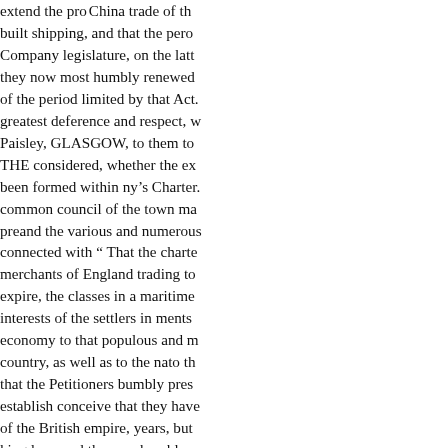extend the pro-China trade of the built shipping, and that the perot Company legislature, on the latte they now most humbly renewed of the period limited by that Act. greatest deference and respect, w Paisley, GLASGOW, to them to THE considered, whether the ex been formed within ny's Charter. common council of the town ma preand the various and numerous connected with " That the charte merchants of England trading to expire, the classes in a maritime interests of the settlers in ments economy to that populous and m country, as well as to the nato th that the Petitioners bumbly pres establish conceive that they have of the British empire, years, but kingdom; and they are humbly o all legisla- stitute for what the e kingdom in Europe ; and that of equal right in the subject, and th